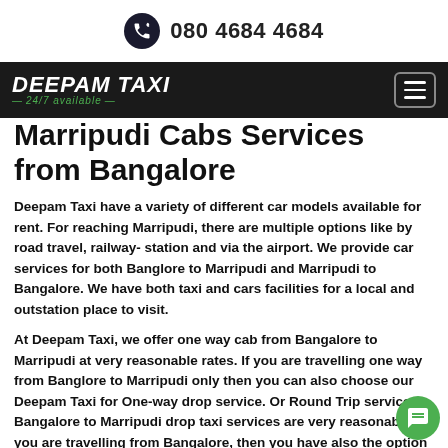080 4684 4684
Marripudi Cabs Services from Bangalore
Deepam Taxi have a variety of different car models available for rent. For reaching Marripudi, there are multiple options like by road travel, railway- station and via the airport. We provide car services for both Banglore to Marripudi and Marripudi to Bangalore. We have both taxi and cars facilities for a local and outstation place to visit.
At Deepam Taxi, we offer one way cab from Bangalore to Marripudi at very reasonable rates. If you are travelling one way from Banglore to Marripudi only then you can also choose our Deepam Taxi for One-way drop service. Or Round Trip services Bangalore to Marripudi drop taxi services are very reasonable. If you are travelling from Bangalore, then you have also the option of Bangalore to Marripudi taxi one way. So, plan for you weekend gateways, Business trip and holiday tours with outstation and highest quality services.